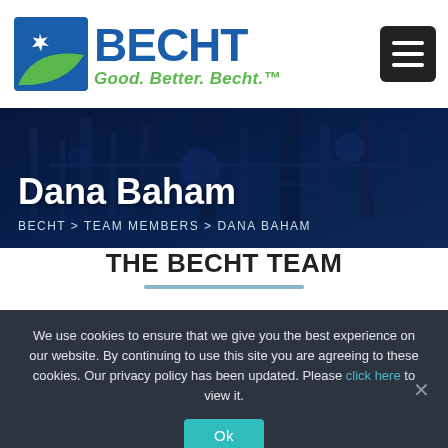[Figure (logo): Becht company logo with blue and green B icon, BECHT in blue bold text, tagline 'Good. Better. Becht.' in green italic]
[Figure (illustration): Dark blue industrial/refinery facility at night used as hero banner background]
Dana Baham
BECHT > TEAM MEMBERS > DANA BAHAM
THE BECHT TEAM
We use cookies to ensure that we give you the best experience on our website. By continuing to use this site you are agreeing to these cookies. Our privacy policy has been updated. Please click here to view it.
Ok